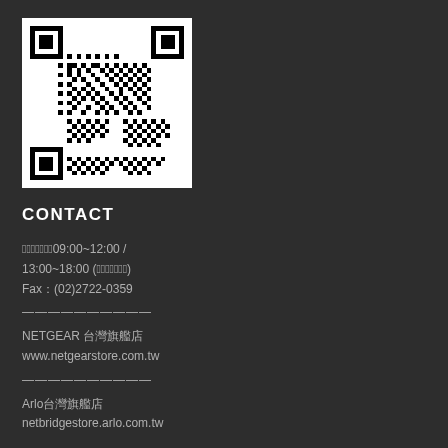[Figure (other): QR code in white box on dark background]
CONTACT
📞週一至週五09:00~12:00 / 13:00~18:00 (國定假日除外)
Fax：(02)2722-0359
——————————
NETGEAR 台灣旗艦店
www.netgearstore.com.tw
——————————
Arlo台灣旗艦店
netbridgestore.arlo.com.tw